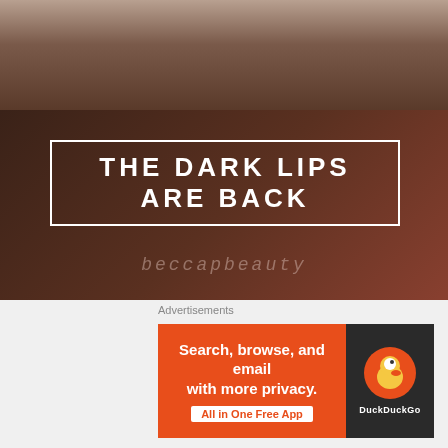[Figure (photo): Close-up photo of a person's face with dark lips makeup; background shows another photo of fingers/hands with jewelry at top]
THE DARK LIPS ARE BACK
beccapbeauty
'Twas the first week of October and the spicy smelling candles were lit. The pumpkin spice lattes were brewing and the blankets were a hit. The return......
Advertisements
[Figure (screenshot): DuckDuckGo advertisement banner: 'Search, browse, and email with more privacy. All in One Free App' on orange background with DuckDuckGo duck logo on dark right panel]